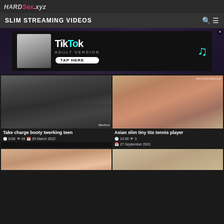HARDSex.xyz
SLIM STREAMING VIDEOS
[Figure (photo): TikTok Adult Version advertisement banner with a blonde woman photo and TikTok logo]
[Figure (photo): Take charge booty twerking teen - video thumbnail showing blonde woman in camouflage shorts]
Take charge booty twerking teen
8:00  49  05 March 2022
[Figure (photo): Asian slim tiny tits tennis player - video thumbnail]
Asian slim tiny tits tennis player
14:00  3  27 September 2021